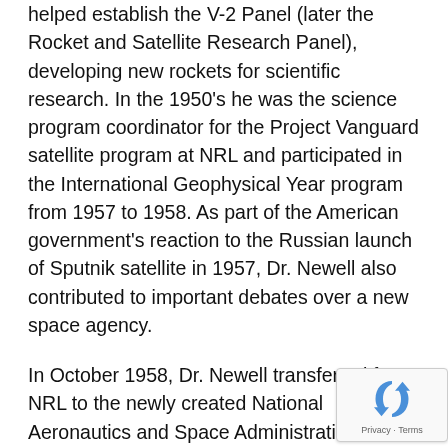helped establish the V-2 Panel (later the Rocket and Satellite Research Panel), developing new rockets for scientific research. In the 1950's he was the science program coordinator for the Project Vanguard satellite program at NRL and participated in the International Geophysical Year program from 1957 to 1958. As part of the American government's reaction to the Russian launch of Sputnik satellite in 1957, Dr. Newell also contributed to important debates over a new space agency.
In October 1958, Dr. Newell transferred from NRL to the newly created National Aeronautics and Space Administration (NASA) to assume responsibility for planning and development of the new agency's space science program. He